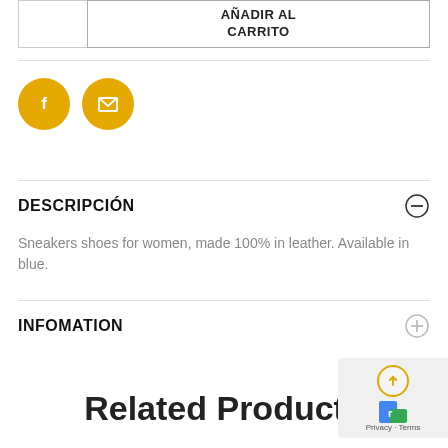[Figure (screenshot): Add to cart button area with quantity box and AÑADIR AL CARRITO button]
[Figure (infographic): Social share icons: Facebook (f) and Email (envelope) in yellow/gold circles]
DESCRIPCIÓN
Sneakers shoes for women, made 100% in leather. Available in blue.
INFOMATION
Related Products